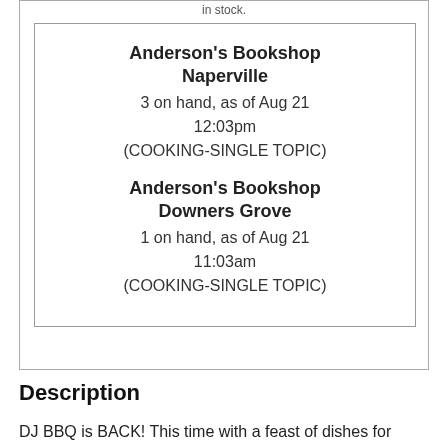in stock.
Anderson's Bookshop Naperville
3 on hand, as of Aug 21 12:03pm
(COOKING-SINGLE TOPIC)
Anderson's Bookshop Downers Grove
1 on hand, as of Aug 21 11:03am
(COOKING-SINGLE TOPIC)
Description
DJ BBQ is BACK! This time with a feast of dishes for outdoor occasions – he wants YOU to get grilling for friends and family with a medley of new dishes that are perfect for sharing.